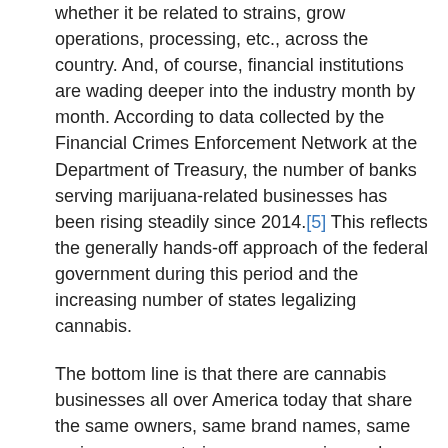whether it be related to strains, grow operations, processing, etc., across the country. And, of course, financial institutions are wading deeper into the industry month by month. According to data collected by the Financial Crimes Enforcement Network at the Department of Treasury, the number of banks serving marijuana-related businesses has been rising steadily since 2014.[5] This reflects the generally hands-off approach of the federal government during this period and the increasing number of states legalizing cannabis.
The bottom line is that there are cannabis businesses all over America today that share the same owners, same brand names, same recipes, same strains, same growing and processing techniques, same products, etc. etc. etc. Money is freely flowing from state-to-state through centralized ownership or centralized lenders. The only thing not interstate about this market is the flow of product but, at a very